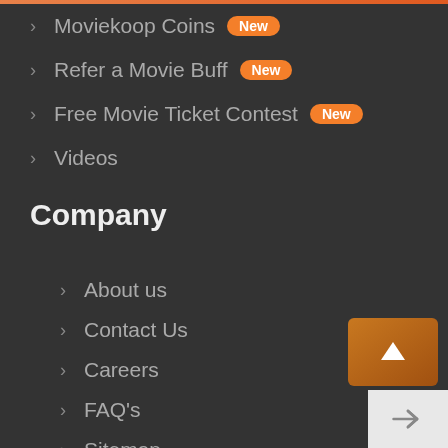Moviekoop Coins New
Refer a Movie Buff New
Free Movie Ticket Contest New
Videos
Company
About us
Contact Us
Careers
FAQ's
Sitemap
Terms and Conditions
Privacy Policy